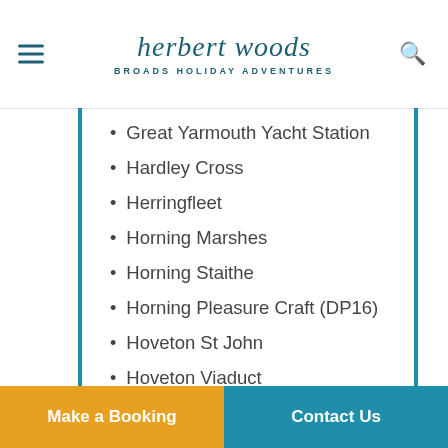herbert woods BROADS HOLIDAY ADVENTURES
Great Yarmouth Yacht Station
Hardley Cross
Herringfleet
Horning Marshes
Horning Staithe
Horning Pleasure Craft (DP16)
Hoveton St John
Hoveton Viaduct
How Hill Staithe
Irstead Staithe
Langley Dyke
Loddon Staithe
Neatishead
North Cove
Make a Booking | Contact Us